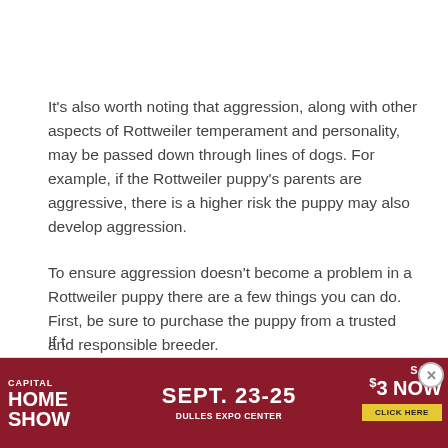It's also worth noting that aggression, along with other aspects of Rottweiler temperament and personality, may be passed down through lines of dogs. For example, if the Rottweiler puppy's parents are aggressive, there is a higher risk the puppy may also develop aggression.
To ensure aggression doesn't become a problem in a Rottweiler puppy there are a few things you can do. First, be sure to purchase the puppy from a trusted and responsible breeder.
If t
[Figure (other): Advertisement banner for Capital Home Show, Sept. 23-25, Dulles Expo Center. Red background with text 'SAVE $3 NOW' and 'CLICK HERE' button. Includes a play icon and close button.]